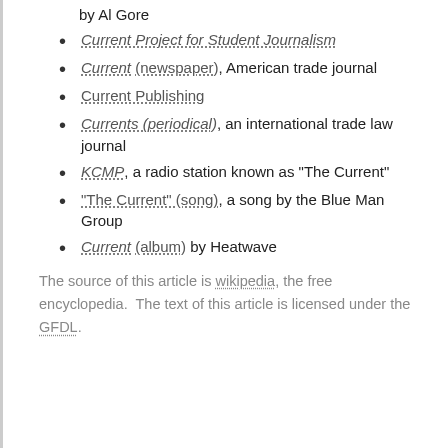by Al Gore
Current Project for Student Journalism
Current (newspaper), American trade journal
Current Publishing
Currents (periodical), an international trade law journal
KCMP, a radio station known as "The Current"
"The Current" (song), a song by the Blue Man Group
Current (album) by Heatwave
The source of this article is wikipedia, the free encyclopedia.  The text of this article is licensed under the GFDL.